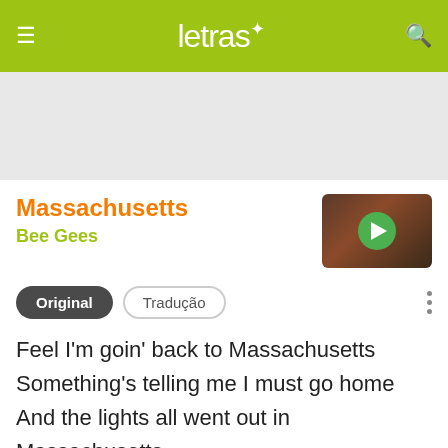letras
Massachusetts
Bee Gees
[Figure (photo): Thumbnail of Bee Gees with a green play button overlay]
Original  Tradução
Feel I'm goin' back to Massachusetts
Something's telling me I must go home
And the lights all went out in Massachusetts
The day I left her standing on her own